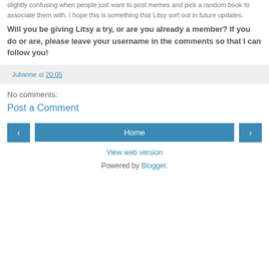slightly confusing when people just want to post memes and pick a random book to associate them with. I hope this is something that Litsy sort out in future updates.
Will you be giving Litsy a try, or are you already a member? If you do or are, please leave your username in the comments so that I can follow you!
Julianne at 20:05
No comments:
Post a Comment
Home
View web version
Powered by Blogger.